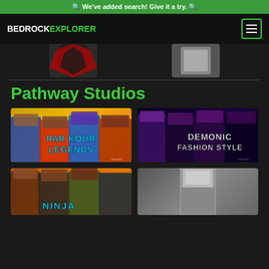🔍 We've added search! Give it a try. 🔍
[Figure (logo): BedrockExplorer logo and hamburger menu nav bar]
[Figure (photo): Partial Minecraft skin thumbnails visible at top of page]
Pathway Studios
[Figure (photo): Parkour Legends skin pack thumbnail with Minecraft characters on orange/yellow background]
[Figure (photo): Demonic Fashion Style skin pack thumbnail with Minecraft characters on dark purple background]
[Figure (photo): Ninja skin pack thumbnail with Minecraft characters on orange background (partially visible)]
[Figure (photo): Gray Minecraft skin/figure thumbnail (partially visible)]